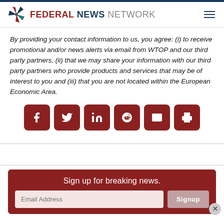FEDERAL NEWS NETWORK
By providing your contact information to us, you agree: (i) to receive promotional and/or news alerts via email from WTOP and our third party partners, (ii) that we may share your information with our third party partners who provide products and services that may be of interest to you and (iii) that you are not located within the European Economic Area.
[Figure (infographic): Row of six dark red rounded square social sharing buttons: Facebook (f), Twitter (bird), LinkedIn (in), Reddit (alien), Email (envelope), Print (printer)]
Sign up for breaking news.
Email Address
Signup